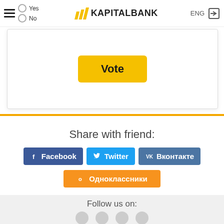KAPITALBANK — ENG
[Figure (other): Vote button inside a card with Yes/No radio options]
Share with friend:
[Figure (infographic): Social share buttons: Facebook, Twitter, Вконтакте, Одноклассники]
Follow us on: